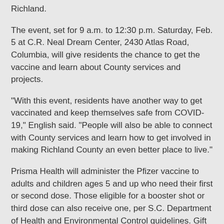Richland.
The event, set for 9 a.m. to 12:30 p.m. Saturday, Feb. 5 at C.R. Neal Dream Center, 2430 Atlas Road, Columbia, will give residents the chance to get the vaccine and learn about County services and projects.
“With this event, residents have another way to get vaccinated and keep themselves safe from COVID-19,” English said. “People will also be able to connect with County services and learn how to get involved in making Richland County an even better place to live.”
Prisma Health will administer the Pfizer vaccine to adults and children ages 5 and up who need their first or second dose. Those eligible for a booster shot or third dose can also receive one, per S.C. Department of Health and Environmental Control guidelines. Gift cards will be available first-come, first-served to Richland County residents getting their first dose of the vaccine.
No appointment is needed to receive the vaccine, which is free and does not require insurance.